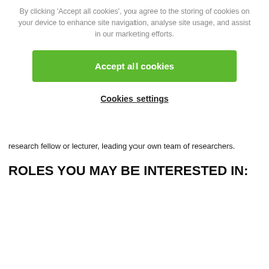By clicking 'Accept all cookies', you agree to the storing of cookies on your device to enhance site navigation, analyse site usage, and assist in our marketing efforts.
[Figure (other): Green 'Accept all cookies' button]
Cookies settings
research fellow or lecturer, leading your own team of researchers.
ROLES YOU MAY BE INTERESTED IN: